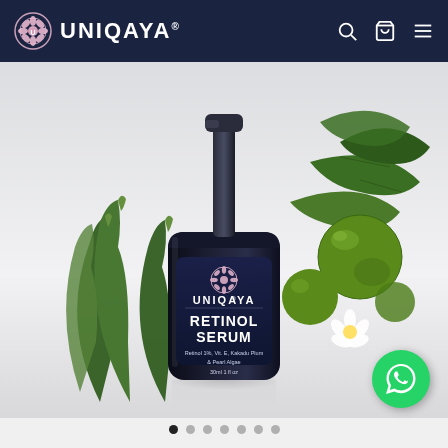UNIQAYA
[Figure (photo): Uniqaya Retinol Serum product bottle (dark navy bottle with pump dispenser) surrounded by aloe vera, kakadu plum fruits and leaves, and pearl flowers against a light grey gradient background. The bottle label reads: UNIQAYA RETINOL SERUM, Retinol 1%, Vit. E, Kakadu Plum & Pearl Algae, 30ml 1 fl oz]
[Figure (other): WhatsApp floating action button (green circle with white WhatsApp icon) in bottom-right corner]
[Figure (other): Carousel navigation dots — 7 dots, first (leftmost) is filled/active dark, rest are grey]